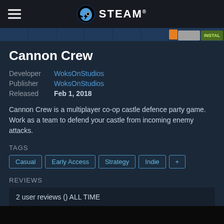STEAM
Cannon Crew
Developer  WoksOnStudios
Publisher  WoksOnStudios
Released   Feb 1, 2018
Cannon Crew is a multiplayer co-op castle defence party game. Work as a team to defend your castle from incoming enemy attacks.
TAGS
Casual
Early Access
Strategy
Indie
+
REVIEWS
2 user reviews () ALL TIME
[Figure (screenshot): Dark game screenshot strip at bottom of page]